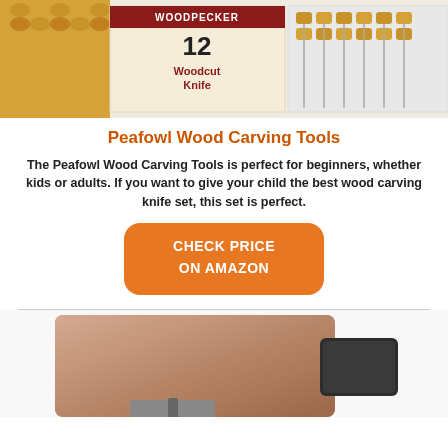[Figure (photo): Woodpecker brand woodcut knife set box with 12 wood carving tools, handles visible on left and knife tray on right]
Peafowl Wood Carving Tools
The Peafowl Wood Carving Tools is perfect for beginners, whether kids or adults. If you want to give your child the best wood carving knife set, this set is perfect.
[Figure (illustration): Orange rounded rectangle button with text CHECK PRICE ON AMAZON]
[Figure (photo): Leather tool case or wallet with a dark card/whetstone next to it]